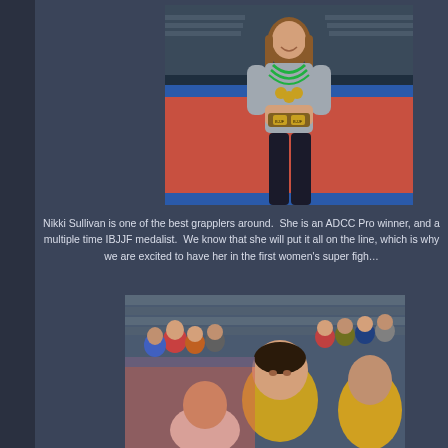[Figure (photo): Woman (Nikki Sullivan) standing on a martial arts mat wearing a gray t-shirt and black pants, displaying multiple medals around her neck and holding a belt/award, smiling at the camera. Competition mats visible in background.]
Nikki Sullivan is one of the best grapplers around.  She is an ADCC Pro winner, and a multiple time IBJJF medalist.  We know that she will put it all on the line, which is why we are excited to have her in the first women's super fight in our event's history!
[Figure (photo): Crowd scene at a martial arts or grappling competition event, showing spectators and participants in a venue with bleachers. A man in a yellow shirt is visible in the foreground.]